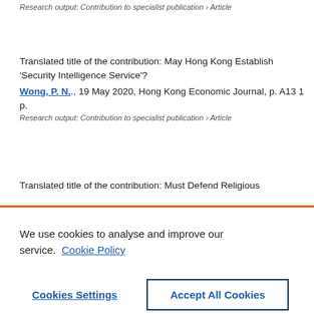Research output: Contribution to specialist publication › Article
Translated title of the contribution: May Hong Kong Establish 'Security Intelligence Service'?
Wong, P. N., 19 May 2020, Hong Kong Economic Journal, p. A13 1 p.
Research output: Contribution to specialist publication › Article
Translated title of the contribution: Must Defend Religious
We use cookies to analyse and improve our service. Cookie Policy
Cookies Settings
Accept All Cookies